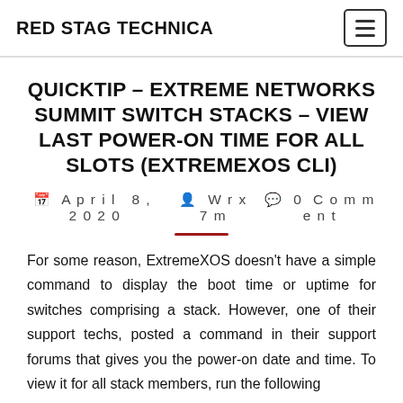RED STAG TECHNICA
QUICKTIP – EXTREME NETWORKS SUMMIT SWITCH STACKS – VIEW LAST POWER-ON TIME FOR ALL SLOTS (EXTREMEXOS CLI)
April 8, 2020  Wrx7m  0 Comment
For some reason, ExtremeXOS doesn't have a simple command to display the boot time or uptime for switches comprising a stack. However, one of their support techs, posted a command in their support forums that gives you the power-on date and time. To view it for all stack members, run the following